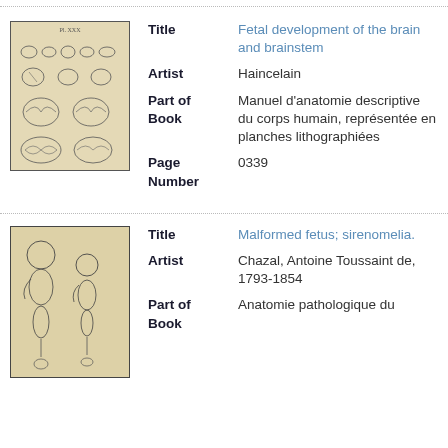[Figure (illustration): Anatomical illustration of fetal brain development showing multiple brain specimens from different angles on aged paper background]
| Title | Fetal development of the brain and brainstem |
| Artist | Haincelain |
| Part of Book | Manuel d'anatomie descriptive du corps humain, représentée en planches lithographiées |
| Page Number | 0339 |
[Figure (illustration): Anatomical illustration of malformed fetus with sirenomelia (mermaid syndrome) showing two fetal figures with fused lower extremities]
| Title | Malformed fetus; sirenomelia. |
| Artist | Chazal, Antoine Toussaint de, 1793-1854 |
| Part of Book | Anatomie pathologique du |